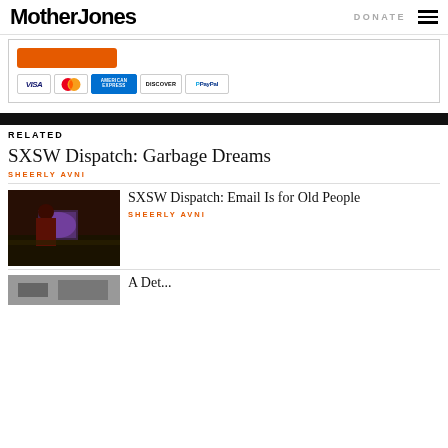Mother Jones | DONATE
[Figure (other): Donation widget with orange button and payment icons: VISA, MasterCard, American Express, Discover, PayPal]
RELATED
SXSW Dispatch: Garbage Dreams
SHEERLY AVNI
[Figure (photo): Photo of person working at a printing or tech station at SXSW]
SXSW Dispatch: Email Is for Old People
SHEERLY AVNI
[Figure (photo): Partial photo at bottom of page, article beginning 'A Det...']